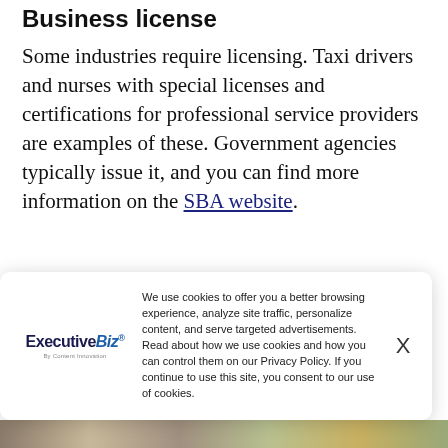Business license
Some industries require licensing. Taxi drivers and nurses with special licenses and certifications for professional service providers are examples of these. Government agencies typically issue it, and you can find more information on the SBA website.
[Figure (screenshot): Cookie consent banner with ExecutiveBiz logo, cookie usage text, and X close button]
[Figure (photo): Partial photo strip at bottom showing people]